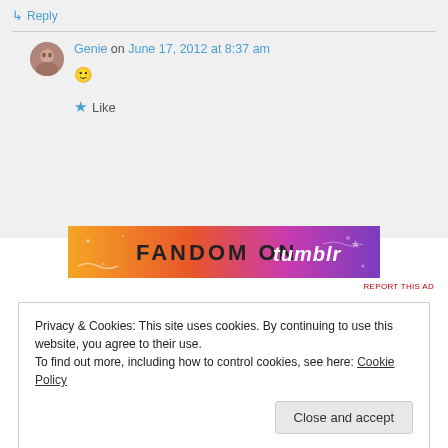↳ Reply
Genie on June 17, 2012 at 8:37 am
🙂
★ Like
[Figure (illustration): Fandom on Tumblr advertisement banner with orange to purple gradient and decorative text]
REPORT THIS AD
Privacy & Cookies: This site uses cookies. By continuing to use this website, you agree to their use.
To find out more, including how to control cookies, see here: Cookie Policy
Close and accept